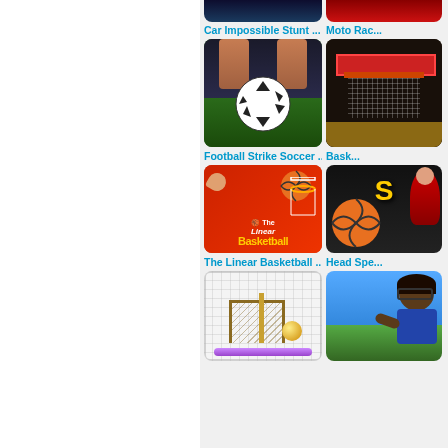[Figure (screenshot): Game thumbnail - Car Impossible Stunt (partial, top cut off)]
[Figure (screenshot): Game thumbnail - Moto Racing (partial, top cut off)]
Car Impossible Stunt ...
Moto Rac...
[Figure (screenshot): Game thumbnail - Football Strike Soccer with soccer ball held by hands]
[Figure (screenshot): Game thumbnail - Basketball hoop pixel art]
Football Strike Soccer ...
Bask...
[Figure (screenshot): Game thumbnail - The Linear Basketball with red background, basketball and hoop]
[Figure (screenshot): Game thumbnail - Head Sports (partial, right side cut off)]
The Linear Basketball ...
Head Spe...
[Figure (screenshot): Game thumbnail - Breakout style game with net and ball on platform]
[Figure (screenshot): Game thumbnail - Soccer/Sports game with character (partial)]